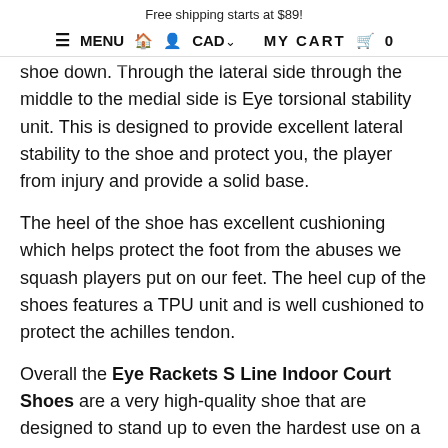Free shipping starts at $89!
≡ MENU  🏠  👤  CAD∨     MY CART  🛒  0
shoe down. Through the lateral side through the middle to the medial side is Eye torsional stability unit. This is designed to provide excellent lateral stability to the shoe and protect you, the player from injury and provide a solid base.
The heel of the shoe has excellent cushioning which helps protect the foot from the abuses we squash players put on our feet. The heel cup of the shoes features a TPU unit and is well cushioned to protect the achilles tendon.
Overall the Eye Rackets S Line Indoor Court Shoes are a very high-quality shoe that are designed to stand up to even the hardest use on a